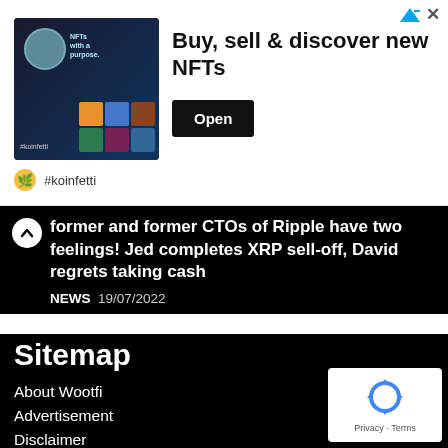[Figure (screenshot): Advertisement banner: NFT marketplace ad with dark-themed image, headline 'Buy, sell & discover new NFTs', Open button, and #koinfetti branding]
former and former CTOs of Ripple have two feelings! Jed completes XRP sell-off, David regrets taking cash
NEWS  19/07/2022
Sitemap
About Wootfi
Advertisement
Disclaimer
Term Of Use
DMCA
Privacy Policy
[Figure (logo): Google reCAPTCHA badge with recycling arrow logo and 'Privacy · Terms' text]